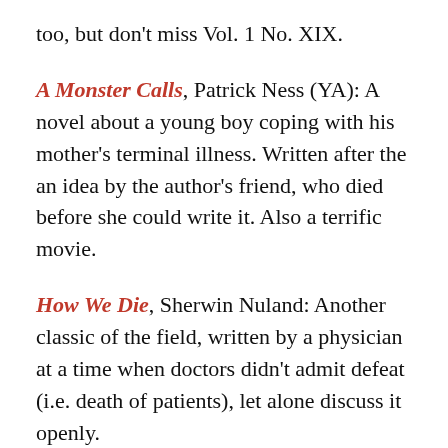too, but don't miss Vol. 1 No. XIX.
A Monster Calls, Patrick Ness (YA): A novel about a young boy coping with his mother's terminal illness. Written after the an idea by the author's friend, who died before she could write it. Also a terrific movie.
How We Die, Sherwin Nuland: Another classic of the field, written by a physician at a time when doctors didn't admit defeat (i.e. death of patients), let alone discuss it openly.
The Long Goodbye: a memoir, Meghan O'Rourke: A poet's memoir about the death of